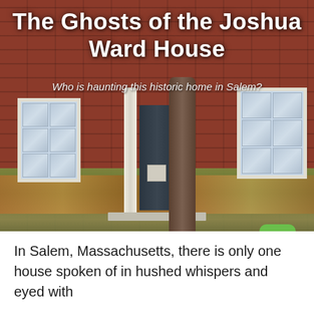[Figure (photo): Photograph of the Joshua Ward House in Salem, Massachusetts. A red brick Federal-style building with white pilasters flanking a dark front door, two multi-pane windows, and a large bare tree in the foreground. Autumn leaves on the ground.]
The Ghosts of the Joshua Ward House
Who is haunting this historic home in Salem?
[Figure (logo): Green speech bubble icon with quotation marks and a smile, resembling a chatbot or quote service logo.]
In Salem, Massachusetts, there is only one house spoken of in hushed whispers and eyed with